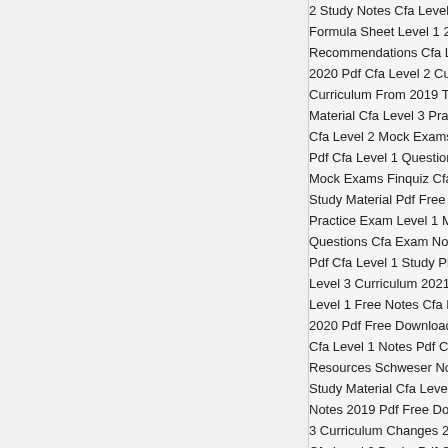2 Study Notes Cfa Level 3 Mock Mock Cfa Level 1 Ex Formula Sheet Level 1 2021 Cfa Level 2 Mock Exams Recommendations Cfa Level 3 Curriculum Changes 20 2020 Pdf Cfa Level 2 Curriculum Pdf Download Cfa L Curriculum From 2019 To 2020 Cfa Question Bank Pd Material Cfa Level 3 Practice Exams Pdf Cfa Level 1 P Cfa Level 2 Mock Exams 2021 Cfa Level 1 Pdf Downl Pdf Cfa Level 1 Question Bank 2021 Cfa Level 2 Notes Mock Exams Finquiz Cfa Level 3 Cfa Level 1 Cfa Leve Study Material Pdf Free Cfa Level 1 Formulas To Rem Practice Exam Level 1 Mock Cfa Level 1 Cfa Level 2 M Questions Cfa Exam Notes Cfa Level 1 Syllabus 2020 S Pdf Cfa Level 1 Study Plan Pdf Cfa Level 3 Curriculum Level 3 Curriculum 2021 Cfa Level 1 Books Pdf Free D Level 1 Free Notes Cfa Books Level 1 Pdf Cfa Materia 2020 Pdf Free Download Cfa L1 Mock Exam Cfa Leve Cfa Level 1 Notes Pdf Cfa Level 3 Curriculum 2020 Sc Resources Schweser Notes Cfa Level 1 2021 Pdf Cfa L Study Material Cfa Level One Mock Exam Cfa Questio Notes 2019 Pdf Free Download Cfa Level 1 Schweser N 3 Curriculum Changes 2022 Cfa Level 1 Past Papers Po Cfa Level 2 Books Pdf Cfa Free Books Ift Cfa Level